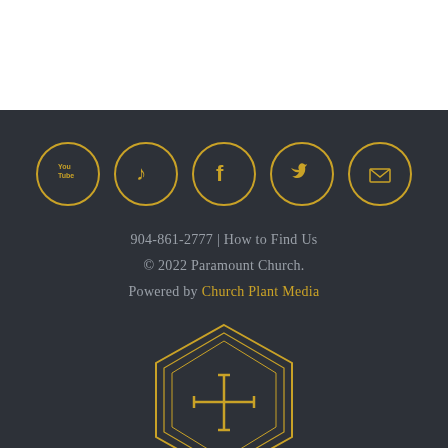[Figure (illustration): Row of five social media icon circles (YouTube, music note, Facebook, Twitter, envelope/email) in gold outline style on dark background]
904-861-2777 | How to Find Us
© 2022 Paramount Church.
Powered by Church Plant Media
[Figure (logo): Paramount Church logo: hexagon shape with cross/plus symbol inside, rendered in gold outline on dark background]